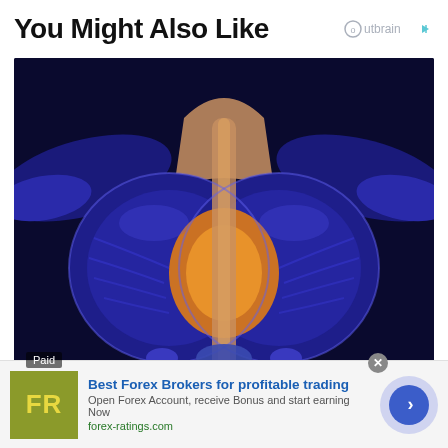You Might Also Like
[Figure (illustration): Medical illustration of a cross-section of the prostate gland and bladder, showing anatomical structures in blue and orange tones on a dark navy background. A 'Paid' label appears in the lower left corner.]
Urologist Shares the Method to Enlarg... [partial text cut off]
[Figure (logo): FR logo in yellow letters on an olive/green square background - Forex Ratings logo]
Best Forex Brokers for profitable trading
Open Forex Account, receive Bonus and start earning Now
forex-ratings.com